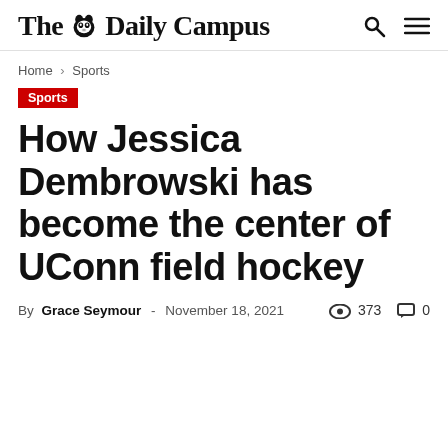The Daily Campus
Home › Sports
Sports
How Jessica Dembrowski has become the center of UConn field hockey
By Grace Seymour - November 18, 2021  373  0